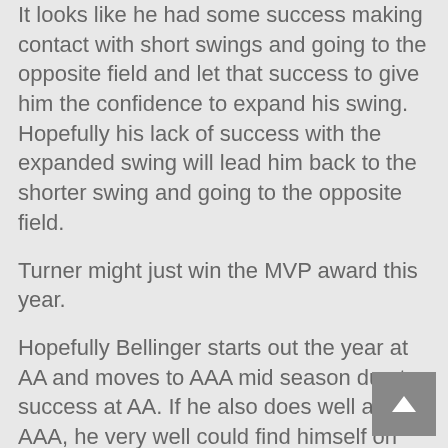It looks like he had some success making contact with short swings and going to the opposite field and let that success to give him the confidence to expand his swing. Hopefully his lack of success with the expanded swing will lead him back to the shorter swing and going to the opposite field.
Turner might just win the MVP award this year.
Hopefully Bellinger starts out the year at AA and moves to AAA mid season due to success at AA. If he also does well at AAA, he very well could find himself on the Dodgers in 2017 somewhere, beit 1st base or the outfield. Either way, there will need to be some trading to make that happen.